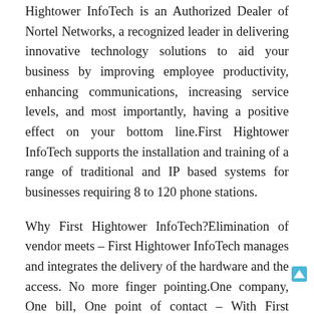Hightower InfoTech is an Authorized Dealer of Nortel Networks, a recognized leader in delivering innovative technology solutions to aid your business by improving employee productivity, enhancing communications, increasing service levels, and most importantly, having a positive effect on your bottom line.First Hightower InfoTech supports the installation and training of a range of traditional and IP based systems for businesses requiring 8 to 120 phone stations.
Why First Hightower InfoTech?Elimination of vendor meets – First Hightower InfoTech manages and integrates the delivery of the hardware and the access. No more finger pointing.One company, One bill, One point of contact – With First Hightower InfoTech supporting all your telecommunications needs, you can focus on managing your business not managing multiple vendors.Cable and wiring – Our experienced and trained technicians support all cabling types.Latest technology- Support for VoIP telephones,